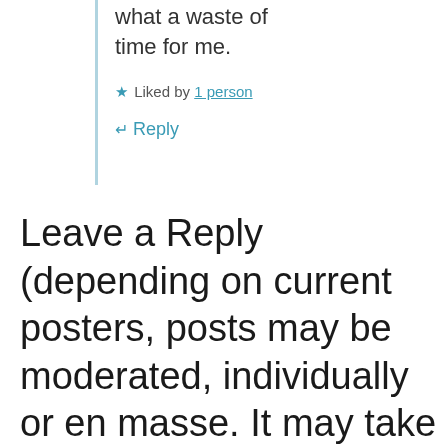what a waste of time for me.
★ Liked by 1 person
↵ Reply
Leave a Reply (depending on current posters, posts may be moderated, individually or en masse. It may take a day or two for a comment to be